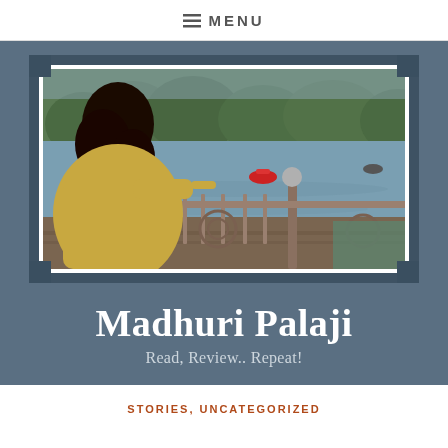≡ MENU
[Figure (photo): A woman with dark curly hair seen from behind, standing at a railing overlooking a lake with pedal boats, green trees in the background. Framed with white border and dark corner pieces on a blue-grey background.]
Madhuri Palaji
Read, Review.. Repeat!
STORIES, UNCATEGORIZED